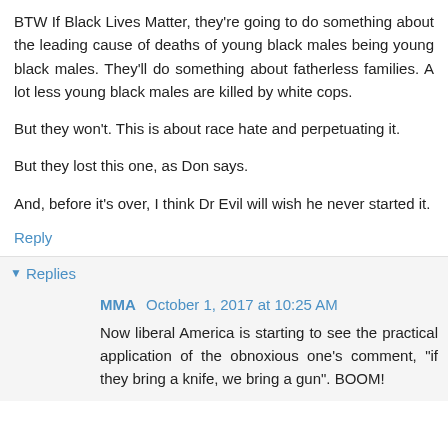BTW If Black Lives Matter, they're going to do something about the leading cause of deaths of young black males being young black males. They'll do something about fatherless families. A lot less young black males are killed by white cops.
But they won't. This is about race hate and perpetuating it.
But they lost this one, as Don says.
And, before it's over, I think Dr Evil will wish he never started it.
Reply
▾ Replies
MMA October 1, 2017 at 10:25 AM
Now liberal America is starting to see the practical application of the obnoxious one's comment, "if they bring a knife, we bring a gun". BOOM!